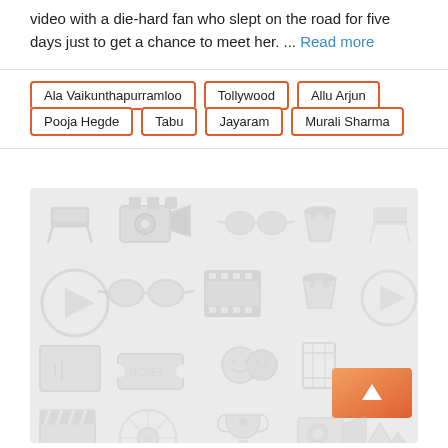video with a die-hard fan who slept on the road for five days just to get a chance to meet her. ... Read more
Ala Vaikunthapurramloo
Tollywood
Allu Arjun
Pooja Hegde
Tabu
Jayaram
Murali Sharma
[Figure (illustration): A cinema/movie themed decorative background with light gray icons of film cameras, director chairs, popcorn, film reels, clapperboards, tickets, play buttons, 3D glasses, film strips, trophies, and other movie-related icons. An orange gradient scroll-to-top button with an upward arrow is visible in the lower right area.]